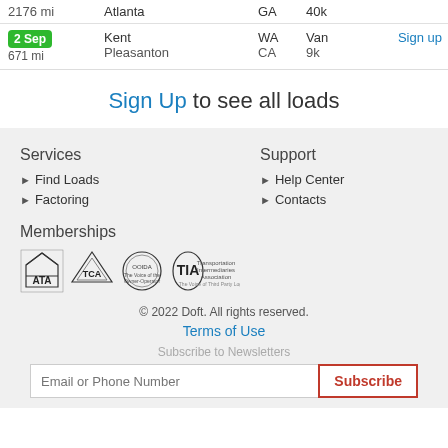| Date/Miles | City | State | Type | Action |
| --- | --- | --- | --- | --- |
| 2176 mi | Atlanta | GA | 40k |  |
| 2 Sep
671 mi | Kent
Pleasanton | WA
CA | Van
9k | Sign up |
Sign Up to see all loads
Services
Find Loads
Factoring
Support
Help Center
Contacts
Memberships
[Figure (logo): Membership logos: ATA, TCA, OOIDA, TIA]
© 2022 Doft. All rights reserved.
Terms of Use
Subscribe to Newsletters
Email or Phone Number
Subscribe